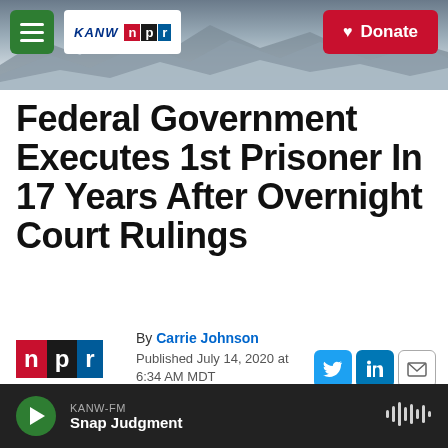[Figure (screenshot): KANW NPR website header with mountain landscape background, green hamburger menu button, KANW NPR logo, and red Donate button]
Federal Government Executes 1st Prisoner In 17 Years After Overnight Court Rulings
By Carrie Johnson
Published July 14, 2020 at 6:34 AM MDT
[Figure (logo): NPR logo with n in red, p in black, r in blue blocks]
KANW-FM
Snap Judgment